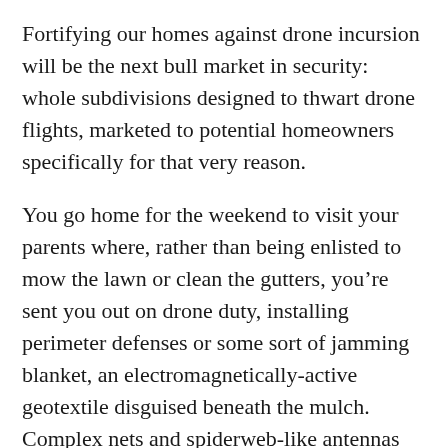Fortifying our homes against drone incursion will be the next bull market in security: whole subdivisions designed to thwart drone flights, marketed to potential homeowners specifically for that very reason.
You go home for the weekend to visit your parents where, rather than being enlisted to mow the lawn or clean the gutters, you’re sent you out on drone duty, installing perimeter defenses or some sort of jamming blanket, an electromagnetically-active geotextile disguised beneath the mulch. Complex nets and spiderweb-like antennas go on sale at Home Depot, perfect for snaring drone rotors and leading to an explosion in suburban bird deaths.